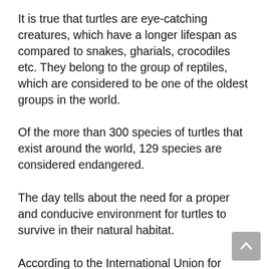It is true that turtles are eye-catching creatures, which have a longer lifespan as compared to snakes, gharials, crocodiles etc. They belong to the group of reptiles, which are considered to be one of the oldest groups in the world.
Of the more than 300 species of turtles that exist around the world, 129 species are considered endangered.
The day tells about the need for a proper and conducive environment for turtles to survive in their natural habitat.
According to the International Union for Conservation of Nature, turtles and tortoises are endangered and vulnerable. Therefore, the